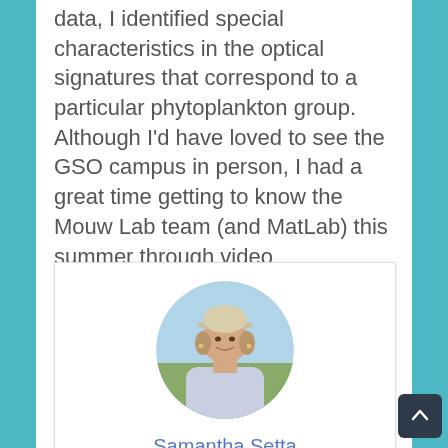data, I identified special characteristics in the optical signatures that correspond to a particular phytoplankton group. Although I'd have loved to see the GSO campus in person, I had a great time getting to know the Mouw Lab team (and MatLab) this summer through video conferences!
[Figure (photo): Circular profile photo of Samantha Setta, a woman wearing a cap and light shirt outdoors]
Samantha Setta
I'm a PhD student in the Rynearson Lab at the